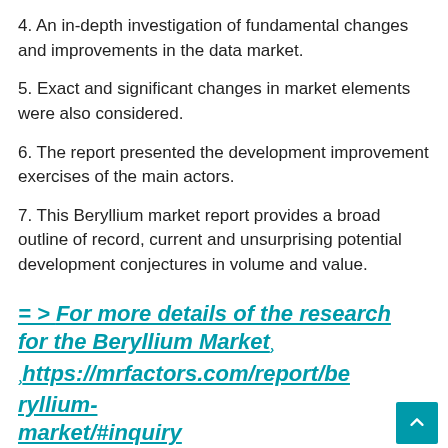4. An in-depth investigation of fundamental changes and improvements in the data market.
5. Exact and significant changes in market elements were also considered.
6. The report presented the development improvement exercises of the main actors.
7. This Beryllium market report provides a broad outline of record, current and unsurprising potential development conjectures in volume and value.
= > For more details of the research for the Beryllium Market‌ https://mrfactors.com/report/beryllium-market/#inquiry